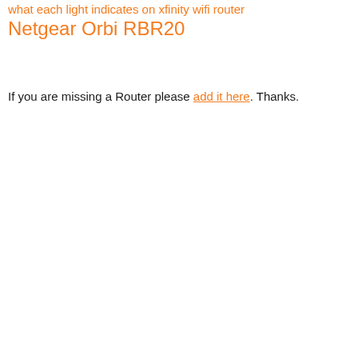what each light indicates on xfinity wifi router Netgear Orbi RBR20
If you are missing a Router please add it here. Thanks.